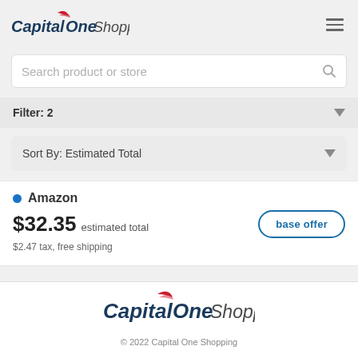Capital One Shopping
Search product or store
Filter: 2
Sort By: Estimated Total
Amazon
$32.35 estimated total
$2.47 tax, free shipping
[Figure (logo): Capital One Shopping logo in footer]
© 2022 Capital One Shopping